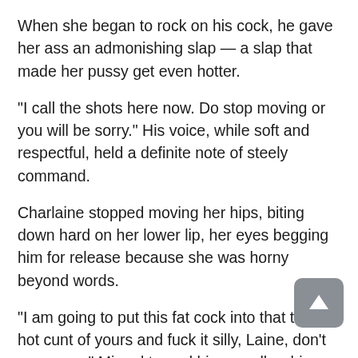When she began to rock on his cock, he gave her ass an admonishing slap — a slap that made her pussy get even hotter.
“I call the shots here now. Do stop moving or you will be sorry.” His voice, while soft and respectful, held a definite note of steely command.
Charlaine stopped moving her hips, biting down hard on her lower lip, her eyes begging him for release because she was horny beyond words.
“I am going to put this fat cock into that tight, hot cunt of yours and fuck it silly, Laine, don’t you worry,” Miguel turned his gravelly whisper into a caress against the softness of her neck as he tweaked a turgid nipple through her tank top.
“I am going to screw you long and hard and keep you